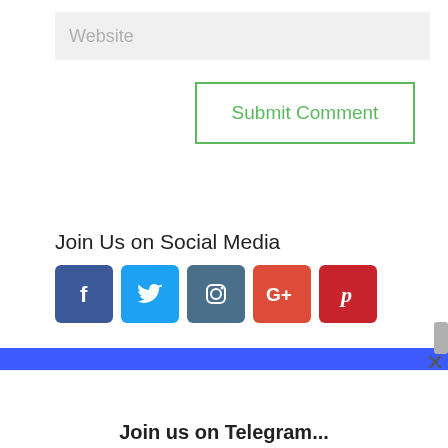Website
Submit Comment
Join Us on Social Media
[Figure (infographic): Social media icons: Facebook, Twitter, Instagram, Google+, Pinterest]
[Figure (infographic): Blue bar with avatar image (laughing bald man cartoon)]
Join us on Telegram...
Join our free preparation group where I provide special content not available anywhere else!
Telegram